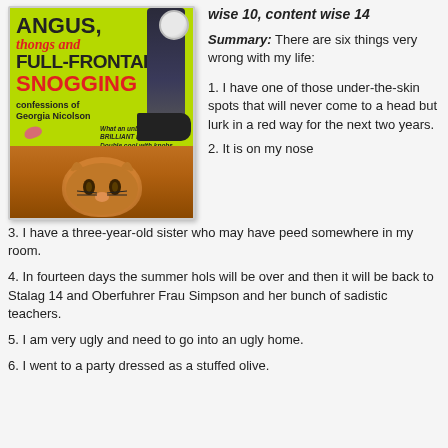[Figure (illustration): Book cover of 'Angus, Thongs and Full-Frontal Snogging: Confessions of Georgia Nicolson' showing a lime green cover with large stylized text, a black-stockinged leg with a shoe, a ginger cat at the bottom, kiss marks, and a medal/award sticker.]
wise 10, content wise 14
Summary: There are six things very wrong with my life:
1. I have one of those under-the-skin spots that will never come to a head but lurk in a red way for the next two years.
2. It is on my nose
3. I have a three-year-old sister who may have peed somewhere in my room.
4. In fourteen days the summer hols will be over and then it will be back to Stalag 14 and Oberfuhrer Frau Simpson and her bunch of sadistic teachers.
5. I am very ugly and need to go into an ugly home.
6. I went to a party dressed as a stuffed olive.